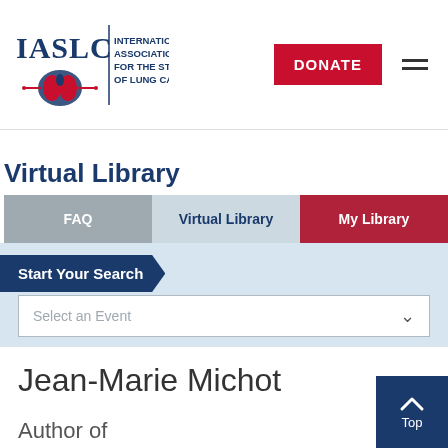IASLC | INTERNATIONAL ASSOCIATION FOR THE STUDY OF LUNG CANCER
Virtual Library
FAQ | Virtual Library | My Library
Start Your Search
Select an Event
Jean-Marie Michot
Author of